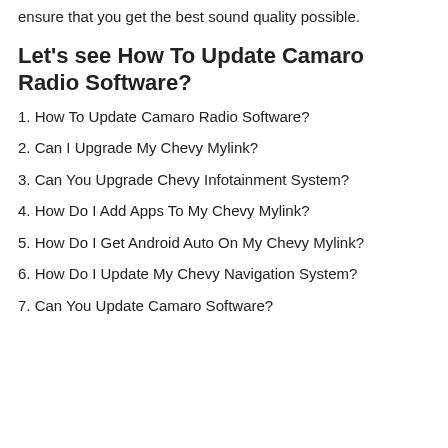ensure that you get the best sound quality possible.
Let's see How To Update Camaro Radio Software?
1. How To Update Camaro Radio Software?
2. Can I Upgrade My Chevy Mylink?
3. Can You Upgrade Chevy Infotainment System?
4. How Do I Add Apps To My Chevy Mylink?
5. How Do I Get Android Auto On My Chevy Mylink?
6. How Do I Update My Chevy Navigation System?
7. Can You Update Camaro Software?